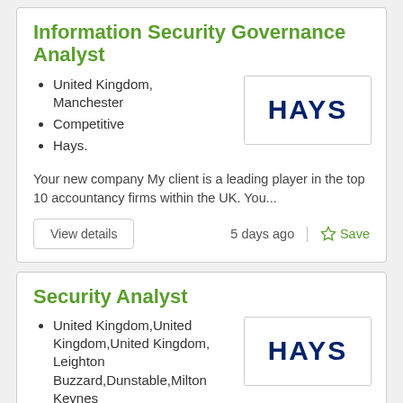Information Security Governance Analyst
United Kingdom, Manchester
Competitive
Hays.
[Figure (logo): HAYS company logo in dark navy blue bold text on white background with border]
Your new company My client is a leading player in the top 10 accountancy firms within the UK. You...
View details
5 days ago
Save
Security Analyst
United Kingdom,United Kingdom,United Kingdom, Leighton Buzzard,Dunstable,Milton Keynes
[Figure (logo): HAYS company logo in dark navy blue bold text on white background with border]